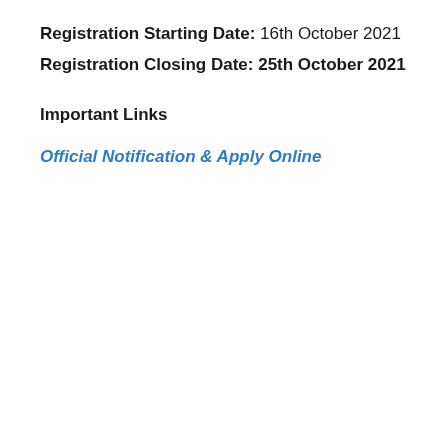Registration Starting Date: 16th October 2021
Registration Closing Date: 25th October 2021
Important Links
Official Notification & Apply Online